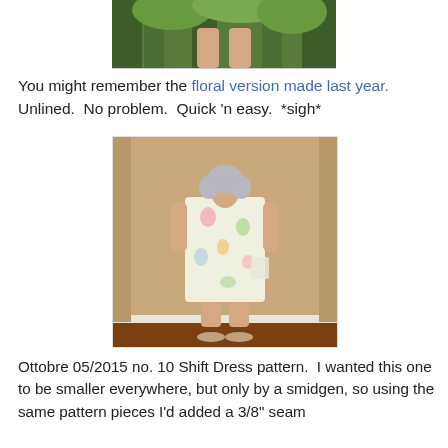[Figure (photo): Partial photo at top of page showing person's legs from mid-thigh down, standing in front of green foliage/trees background]
You might remember the floral version made last year. Unlined.  No problem.  Quick 'n easy.  *sigh*
[Figure (photo): Woman with gray hair wearing a floral shift dress, standing with back to camera in a room with tan/beige walls and wood floor]
Ottobre 05/2015 no. 10 Shift Dress pattern.  I wanted this one to be smaller everywhere, but only by a smidgen, so using the same pattern pieces I'd added a 3/8" seam allowance instead of using a 5/8" seam allowance.